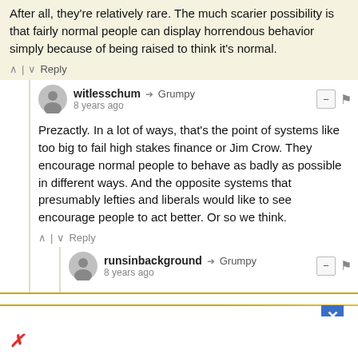After all, they're relatively rare. The much scarier possibility is that fairly normal people can display horrendous behavior simply because of being raised to think it's normal.
witlesschum → Grumpy
8 years ago
Prezactly. In a lot of ways, that's the point of systems like too big to fail high stakes finance or Jim Crow. They encourage normal people to behave as badly as possible in different ways. And the opposite systems that presumably lefties and liberals would like to see encourage people to act better. Or so we think.
runsinbackground → Grumpy
8 years ago
You're comparing apples to oranges. You're right to say that "millions of people" supported Jim Crow laws, and that was the case because they codified generally accepted wh[ite]